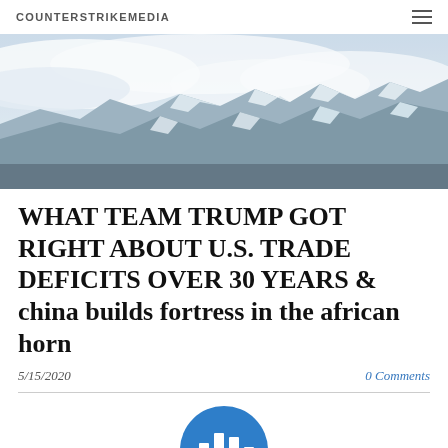COUNTERSTRIKEMEDIA
[Figure (photo): Aerial photo of snow-covered mountain peaks partially obscured by clouds and mist]
WHAT TEAM TRUMP GOT RIGHT ABOUT U.S. TRADE DEFICITS OVER 30 YEARS & china builds fortress in the african horn
5/15/2020    0 Comments
[Figure (logo): Blue circular logo with white bar chart icon, partially visible at bottom of page]